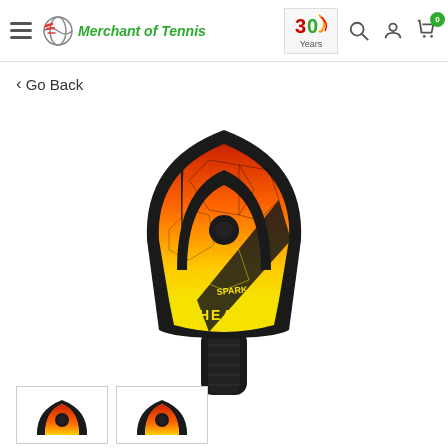Merchant of Tennis - 30 Years
< Go Back
[Figure (photo): HEAD Spark pickleball paddle with red-orange-yellow gradient fade design, featuring the large HEAD logo on face, 'SPARK' text near bottom of paddle face, dark handle grip. Full paddle shown upright.]
[Figure (photo): Thumbnail 1: Close-up of HEAD paddle top with red-orange gradient and HEAD logo]
[Figure (photo): Thumbnail 2: Alternate angle close-up of HEAD paddle with red-orange gradient]